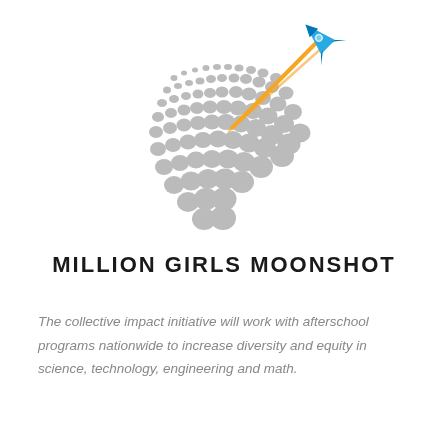[Figure (logo): Million Girls Moonshot logo: a rocket launching upward-right with an orange flame trail, surrounded by a field of gray dots/circles of varying sizes arranged in a sweeping arc pattern.]
MILLION GIRLS MOONSHOT
The collective impact initiative will work with afterschool programs nationwide to increase diversity and equity in science, technology, engineering and math.